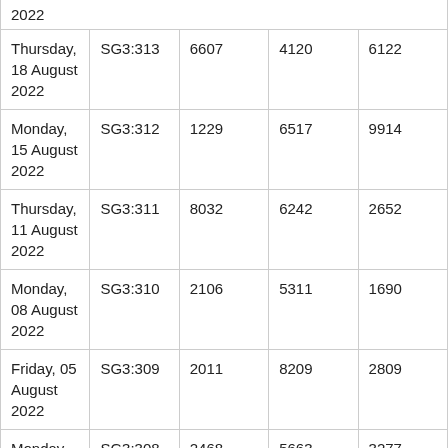| 2022 |  |  |  |
| Thursday, 18 August 2022 | SG3:313 | 6607 | 4120 | 6122 |
| Monday, 15 August 2022 | SG3:312 | 1229 | 6517 | 9914 |
| Thursday, 11 August 2022 | SG3:311 | 8032 | 6242 | 2652 |
| Monday, 08 August 2022 | SG3:310 | 2106 | 5311 | 1690 |
| Friday, 05 August 2022 | SG3:309 | 2011 | 8209 | 2809 |
| Monday, 01 August 2022 | SG3:308 | 2468 | 5663 | 3277 |
| Thursday, 28 July 2022 | SG3:307 | 7940 | 6343 | 3623 |
| Monday, 25 July 2022 | SG3:306 | 5178 | 1487 | 8565 |
| Thursday, 21 July 2022 | SG3:305 | 6552 | 5945 | 9030 |